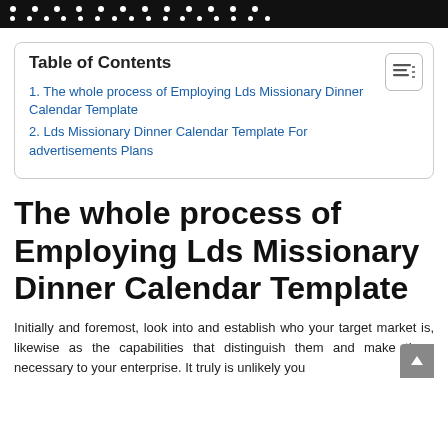• • • • • • • • • • • •
Table of Contents
1. The whole process of Employing Lds Missionary Dinner Calendar Template
2. Lds Missionary Dinner Calendar Template For advertisements Plans
The whole process of Employing Lds Missionary Dinner Calendar Template
Initially and foremost, look into and establish who your target market is, likewise as the capabilities that distinguish them and make them necessary to your enterprise. It truly is unlikely you